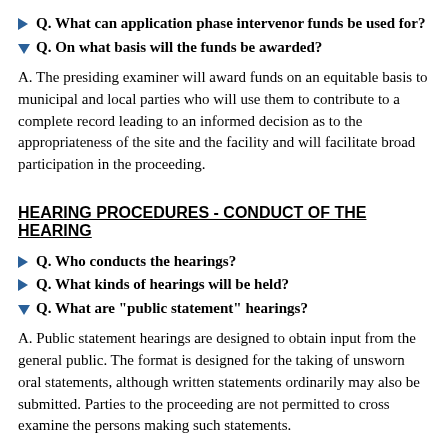Q. What can application phase intervenor funds be used for?
Q. On what basis will the funds be awarded?
A. The presiding examiner will award funds on an equitable basis to municipal and local parties who will use them to contribute to a complete record leading to an informed decision as to the appropriateness of the site and the facility and will facilitate broad participation in the proceeding.
HEARING PROCEDURES - CONDUCT OF THE HEARING
Q. Who conducts the hearings?
Q. What kinds of hearings will be held?
Q. What are "public statement" hearings?
A. Public statement hearings are designed to obtain input from the general public. The format is designed for the taking of unsworn oral statements, although written statements ordinarily may also be submitted. Parties to the proceeding are not permitted to cross examine the persons making such statements.
Q. What is a "limited appearance"?
Q. What are "trial-type evidentiary" hearings?